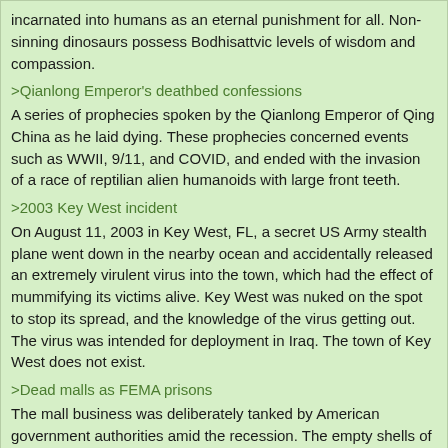incarnated into humans as an eternal punishment for all. Non-sinning dinosaurs possess Bodhisattvic levels of wisdom and compassion.
>Qianlong Emperor's deathbed confessions
A series of prophecies spoken by the Qianlong Emperor of Qing China as he laid dying. These prophecies concerned events such as WWII, 9/11, and COVID, and ended with the invasion of a race of reptilian alien humanoids with large front teeth.
>2003 Key West incident
On August 11, 2003 in Key West, FL, a secret US Army stealth plane went down in the nearby ocean and accidentally released an extremely virulent virus into the town, which had the effect of mummifying its victims alive. Key West was nuked on the spot to stop its spread, and the knowledge of the virus getting out. The virus was intended for deployment in Iraq. The town of Key West does not exist.
>Dead malls as FEMA prisons
The mall business was deliberately tanked by American government authorities amid the recession. The empty shells of dead malls, provided by the scheme, are currently being repurposed as FEMA death camps and containment sites for a coming period of martial law and extraterrestrial takeover.
Anonymous Tue 12 May 2020 21:31:19 No.24951371
Quoted By: >>24951457
>Melania Trump behind Russian invasions of Ukraine
>9/11 caused by pterosaurs